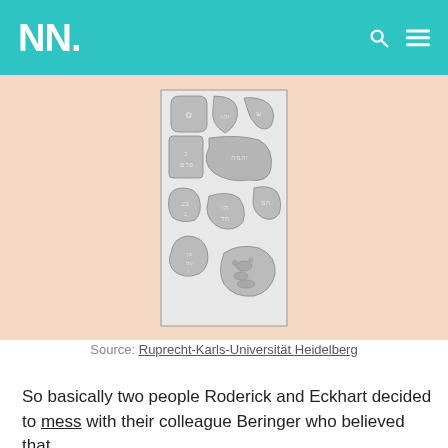NN.
[Figure (illustration): An engraving showing multiple stone or rock fragments with carved Hebrew-like inscriptions and symbols, arranged in a plate format. The stones have various shapes and each bears different carved text or imagery.]
Source: Ruprecht-Karls-Universität Heidelberg
So basically two people Roderick and Eckhart decided to mess with their colleague Beringer who believed that